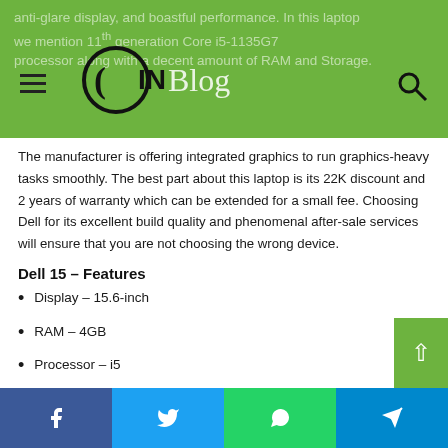anti-glare display, and boastful performance. In this laptop we mention 11th generation Core i5-1135G7 processor along with a decent amount of RAM and Storage.
[Figure (logo): CINBlog logo with circular C bracket and text 'IN Blog' on green header bar]
The manufacturer is offering integrated graphics to run graphics-heavy tasks smoothly. The best part about this laptop is its 22K discount and 2 years of warranty which can be extended for a small fee. Choosing Dell for its excellent build quality and phenomenal after-sale services will ensure that you are not choosing the wrong device.
Dell 15 – Features
Display – 15.6-inch
RAM – 4GB
Processor – i5